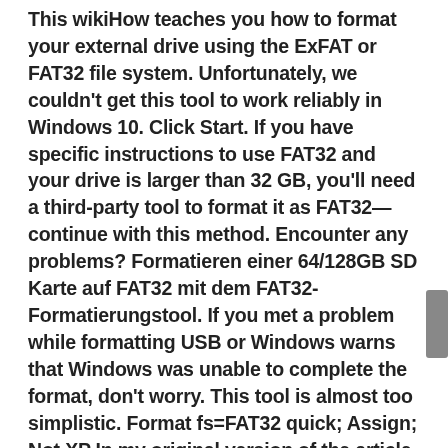This wikiHow teaches you how to format your external drive using the ExFAT or FAT32 file system. Unfortunately, we couldn't get this tool to work reliably in Windows 10. Click Start. If you have specific instructions to use FAT32 and your drive is larger than 32 GB, you'll need a third-party tool to format it as FAT32—continue with this method. Encounter any problems? Formatieren einer 64/128GB SD Karte auf FAT32 mit dem FAT32-Formatierungstool. If you met a problem while formatting USB or Windows warns that Windows was unable to complete the format, don't worry. This tool is almost too simplistic. Format fs=FAT32 quick; Assign; Not XP In my original version of the article, I failed to mention that you must use the DiskPart command in Windows Vista or Windows 7 in order to perform the operation. 3. Instructions for all OS.". Teil 5. Rather than using the standard Windows formatting tool, switch to the command line. Here is what they did in order to format: Step 1. wikiHow, Inc. is the copyright holder of this image under U.S. and international copyright law. This